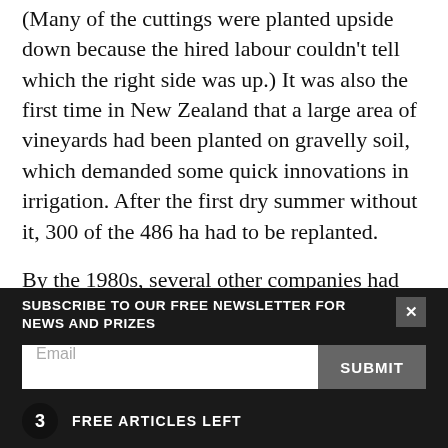(Many of the cuttings were planted upside down because the hired labour couldn't tell which the right side was up.) It was also the first time in New Zealand that a large area of vineyards had been planted on gravelly soil, which demanded some quick innovations in irrigation. After the first dry summer without it, 300 of the 486 ha had to be replanted.
By the 1980s, several other companies had moved into the region and were growing sauvignon, including Selaks and Corbans, but it still wasn't a priority variety and most, following the Californian
SUBSCRIBE TO OUR FREE NEWSLETTER FOR NEWS AND PRIZES
Email
SUBMIT
3 FREE ARTICLES LEFT